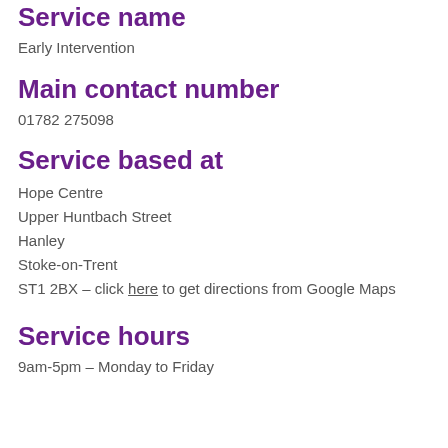Service name
Early Intervention
Main contact number
01782 275098
Service based at
Hope Centre
Upper Huntbach Street
Hanley
Stoke-on-Trent
ST1 2BX – click here to get directions from Google Maps
Service hours
9am-5pm – Monday to Friday